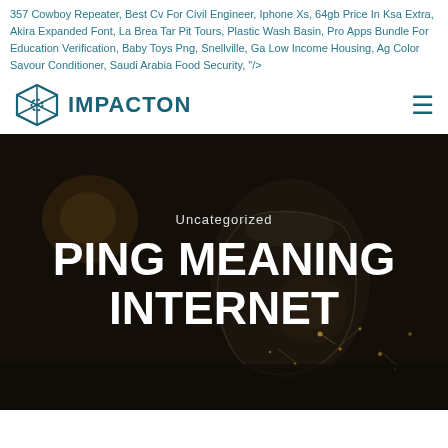357 Cowboy Repeater, Best Cv For Civil Engineer, Iphone Xs, 64gb Price In Ksa Extra, Akira Expanded Font, La Brea Tar Pit Tours, Plastic Wash Basin, Pro Apps Bundle For Education Verification, Baby Toys Png, Snellville, Ga Low Income Housing, Ag Color Savour Conditioner, Saudi Arabia Food Security, "/>
IMPACTON
[Figure (photo): Dark moody background photograph of a glass jar on dark ground with glowing light particles/sparks scattered around it, bokeh background with warm orange/gold light orbs]
Uncategorized
PING MEANING INTERNET